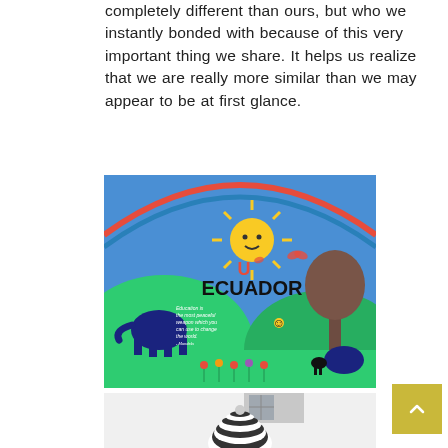completely different than ours, but who we instantly bonded with because of this very important thing we share. It helps us realize that we are really more similar than we may appear to be at first glance.
[Figure (photo): A colorful school mural depicting nature scene with sun, trees, animals, butterflies, bees, and the word ECUADOR. A Nelson Mandela quote about education is written on the left side.]
[Figure (photo): Partial photo showing a person wearing a black and white striped beanie hat against a white wall background.]